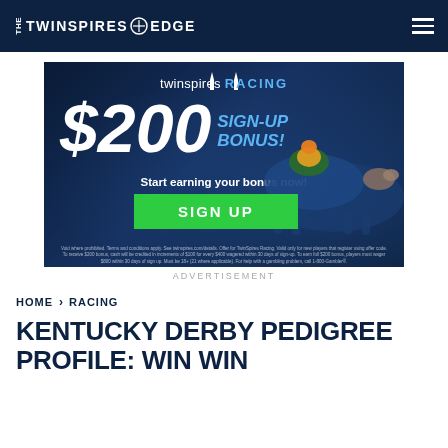THE TWINSPIRES EDGE
[Figure (infographic): TwinSpires Racing $200 Sign-Up Bonus advertisement with jockey on horse, green SIGN UP button, and disclaimer text]
ADVERTISEMENT
HOME > RACING
KENTUCKY DERBY PEDIGREE PROFILE: WIN WIN